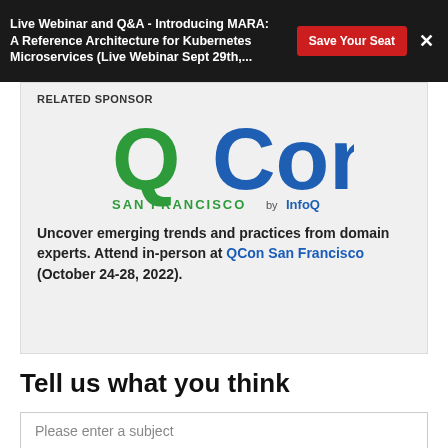Live Webinar and Q&A - Introducing MARA: A Reference Architecture for Kubernetes Microservices (Live Webinar Sept 29th,...
RELATED SPONSOR
[Figure (logo): QCon San Francisco by InfoQ logo — large green Q, blue 'Con' text, green 'SAN FRANCISCO' and blue 'by InfoQ' below]
Uncover emerging trends and practices from domain experts. Attend in-person at QCon San Francisco (October 24-28, 2022).
Tell us what you think
Please enter a subject
Message